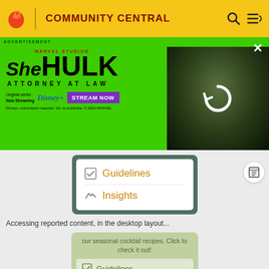COMMUNITY CENTRAL
[Figure (screenshot): She-Hulk Attorney at Law advertisement banner on green background with Disney+ Stream Now button and photo of She-Hulk character]
[Figure (screenshot): Desktop layout panel showing Guidelines and Insights menu items in teal/dark green panel with white inner card]
Accessing reported content, in the desktop layout...
[Figure (screenshot): Second panel showing 'our seasonal cocktail recipes. Click to check it out!' with Guidelines item, divider, and 'Help us grow Cocktails Wiki' text]